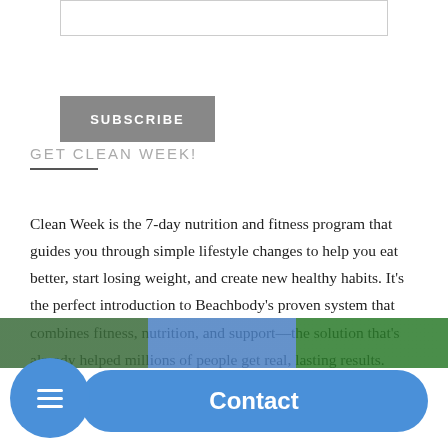[Figure (other): Text input field (empty subscription form input box)]
[Figure (other): Grey SUBSCRIBE button]
GET CLEAN WEEK!
Clean Week is the 7-day nutrition and fitness program that guides you through simple lifestyle changes to help you eat better, start losing weight, and create new healthy habits. It's the perfect introduction to Beachbody's proven system that combines fitness, nutrition, and support—the solution that's already helped millions of people get real, lasting results. Click the image below to get started.
[Figure (other): Blue floating menu hamburger button circle and Contact pill button overlay at bottom of page]